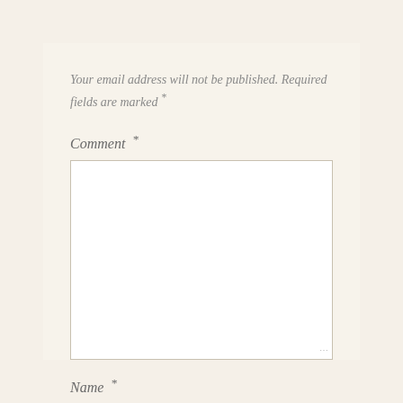Your email address will not be published. Required fields are marked *
Comment *
[Figure (other): Empty comment textarea input box with light border]
Name *